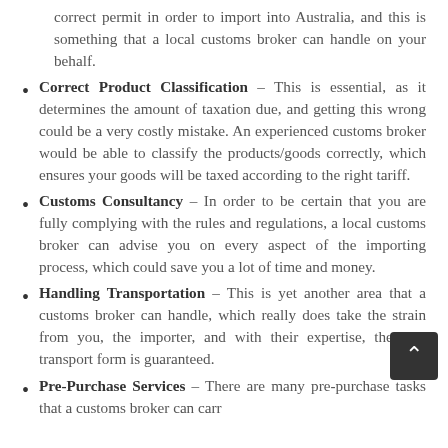correct permit in order to import into Australia, and this is something that a local customs broker can handle on your behalf.
Correct Product Classification – This is essential, as it determines the amount of taxation due, and getting this wrong could be a very costly mistake. An experienced customs broker would be able to classify the products/goods correctly, which ensures your goods will be taxed according to the right tariff.
Customs Consultancy – In order to be certain that you are fully complying with the rules and regulations, a local customs broker can advise you on every aspect of the importing process, which could save you a lot of time and money.
Handling Transportation – This is yet another area that a customs broker can handle, which really does take the strain from you, the importer, and with their expertise, the best transport form is guaranteed.
Pre-Purchase Services – There are many pre-purchase tasks that a customs broker can carr